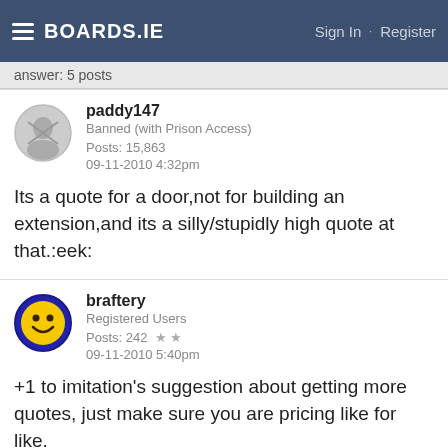BOARDS.IE  Sign In · Register
answer: 5 posts
paddy147
Banned (with Prison Access)
Posts: 15,863
09-11-2010 4:32pm
Its a quote for a door,not for building an extension,and its a silly/stupidly high quote at that.:eek:
braftery
Registered Users
Posts: 242
09-11-2010 5:40pm
+1 to imitation's suggestion about getting more quotes, just make sure you are pricing like for like.
Advertisement